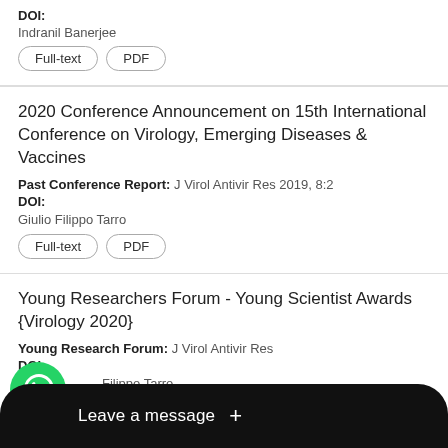DOI:
Indranil Banerjee
Full-text | PDF
2020 Conference Announcement on 15th International Conference on Virology, Emerging Diseases & Vaccines
Past Conference Report: J Virol Antivir Res 2019, 8:2
DOI:
Giulio Filippo Tarro
Full-text | PDF
Young Researchers Forum - Young Scientist Awards {Virology 2020}
Young Research Forum: J Virol Antivir Res
DOI:
Filippo Tarro